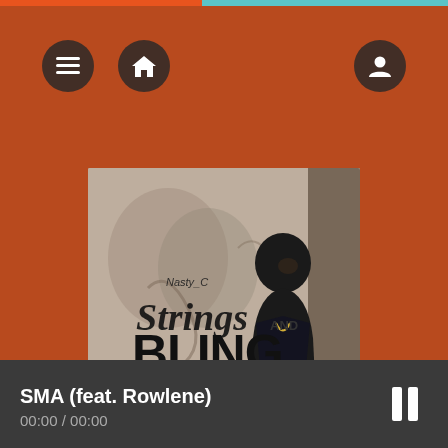[Figure (screenshot): Music player app interface showing album art for Nasty C's 'Strings and Bling' album with navigation buttons, play button, and now-playing bar showing 'SMA (feat. Rowlene) - 00:00 / 00:00']